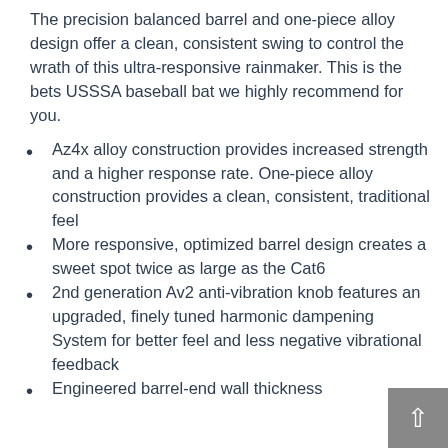The precision balanced barrel and one-piece alloy design offer a clean, consistent swing to control the wrath of this ultra-responsive rainmaker. This is the bets USSSA baseball bat we highly recommend for you.
Az4x alloy construction provides increased strength and a higher response rate. One-piece alloy construction provides a clean, consistent, traditional feel
More responsive, optimized barrel design creates a sweet spot twice as large as the Cat6
2nd generation Av2 anti-vibration knob features an upgraded, finely tuned harmonic dampening System for better feel and less negative vibrational feedback
Engineered barrel-end wall thickness